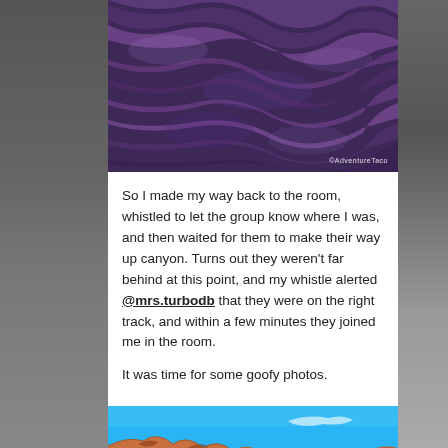[Figure (photo): Close-up of textured purple-blue rock surface with watermark ©AdventureTaco in bottom right corner]
So I made my way back to the room, whistled to let the group know where I was, and then waited for them to make their way up canyon. Turns out they weren't far behind at this point, and my whistle alerted @mrs.turbodb that they were on the right track, and within a few minutes they joined me in the room.
It was time for some goofy photos.
[Figure (photo): Bottom of a canyon with bright blue sky visible above orange-red rock formations]